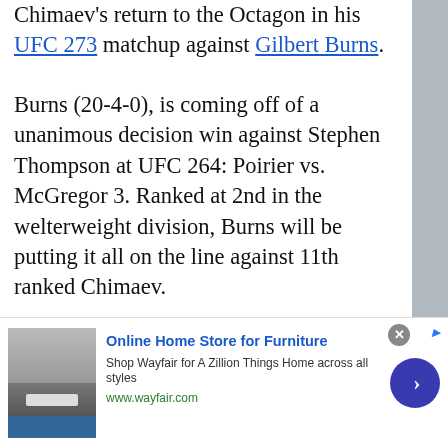Chimaev's return to the Octagon in his UFC 273 matchup against Gilbert Burns.
Burns (20-4-0), is coming off of a unanimous decision win against Stephen Thompson at UFC 264: Poirier vs. McGregor 3. Ranked at 2nd in the welterweight division, Burns will be putting it all on the line against 11th ranked Chimaev.
The two will m... Jacksonville, Flo... once and for al... the scariest co...
[Figure (photo): Two MMA fighters training/sparring in a gym, split into two panels with a blue dividing line]
Watch the full...
[Figure (screenshot): Advertisement bar: Online Home Store for Furniture - Shop Wayfair for A Zillion Things Home across all styles - www.wayfair.com]